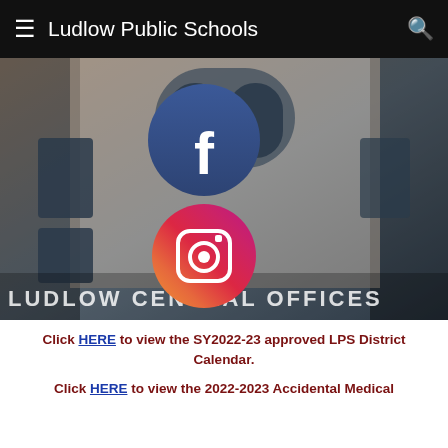Ludlow Public Schools
[Figure (photo): Photo of Ludlow Central Offices brick building exterior with Facebook and Instagram social media icons overlaid in the center]
Click HERE to view the SY2022-23 approved LPS District Calendar.
Click HERE to view the 2022-2023 Accidental Medical Coverage Program brochure